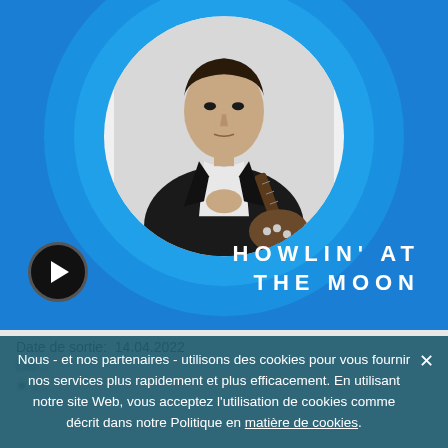[Figure (illustration): Album art for 'Howlin' At The Moon' showing a black and white photo of a man in a dark jacket holding a guitar, centered in concentric circles on a blue background. A play button icon is in the lower left. The album title 'HOWLIN' AT THE MOON' appears in bold white spaced letters at lower right.]
Date de sortie:  14.04.2022
Nous - et nos partenaires - utilisons des cookies pour vous fournir nos services plus rapidement et plus efficacement. En utilisant notre site Web, vous acceptez l'utilisation de cookies comme décrit dans notre Politique en matière de cookies.